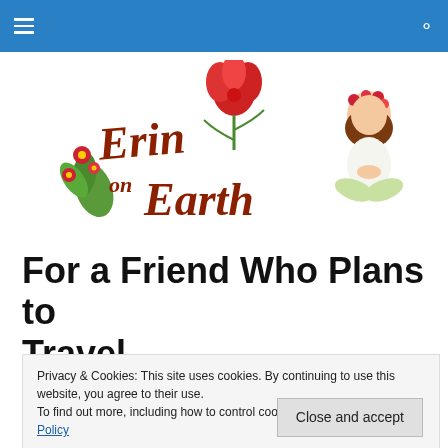[Figure (logo): Erin on Earth logo with decorative floral illustration and a woman in yoga pose]
For a Friend Who Plans to Travel
Privacy & Cookies: This site uses cookies. By continuing to use this website, you agree to their use.
To find out more, including how to control cookies, see here: Cookie Policy
Close and accept